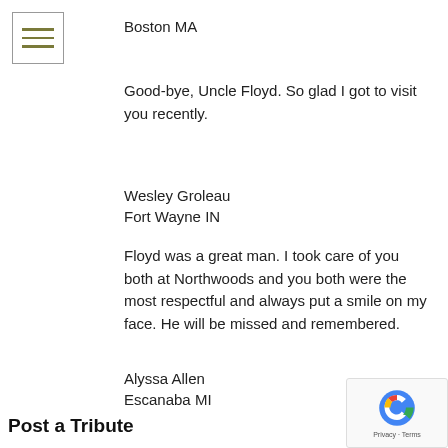[Figure (other): Hamburger menu icon with three horizontal lines in olive/dark yellow color, inside a square border]
Boston MA
Good-bye, Uncle Floyd. So glad I got to visit you recently.
Wesley Groleau
Fort Wayne IN
Floyd was a great man. I took care of you both at Northwoods and you both were the most respectful and always put a smile on my face. He will be missed and remembered.
Alyssa Allen
Escanaba MI
Post a Tribute
[Figure (other): reCAPTCHA privacy badge with logo, showing Privacy - Terms text]